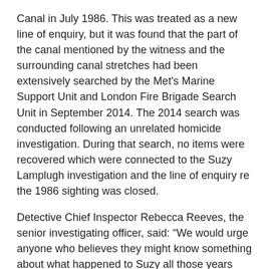Canal in July 1986. This was treated as a new line of enquiry, but it was found that the part of the canal mentioned by the witness and the surrounding canal stretches had been extensively searched by the Met's Marine Support Unit and London Fire Brigade Search Unit in September 2014. The 2014 search was conducted following an unrelated homicide investigation. During that search, no items were recovered which were connected to the Suzy Lamplugh investigation and the line of enquiry re the 1986 sighting was closed.
Detective Chief Inspector Rebecca Reeves, the senior investigating officer, said: "We would urge anyone who believes they might know something about what happened to Suzy all those years ago to come forward. Whether you saw something that you thought was unconnected at the time, or you felt under pressure to protect someone you knew – it is not too late.
"The passage of time has not weakened our determination to seek justice and get the answers that the Lamplugh family continue to wait for. They have always been supportive of our efforts to make progress in the investigation, and they have always encouraged others to come forward with their information."